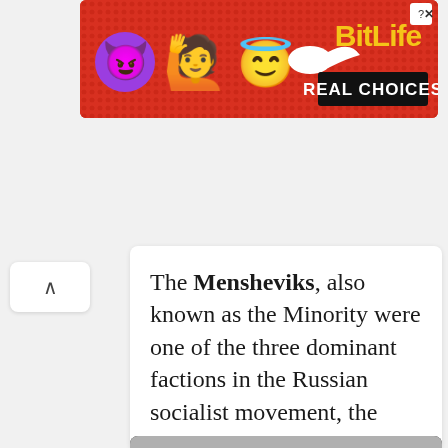[Figure (illustration): BitLife mobile game advertisement banner with emoji characters (devil, person, angel emoji) on a red dotted background with yellow BitLife logo and 'REAL CHOICES' text on black background]
The Mensheviks, also known as the Minority were one of the three dominant factions in the Russian socialist movement, the
[Figure (photo): Black and white historical photograph of a large crowd of people marching or gathering, with banners containing text in what appears to be Russian/Yiddish script visible above the crowd]
Anna Rozental was a Bundist